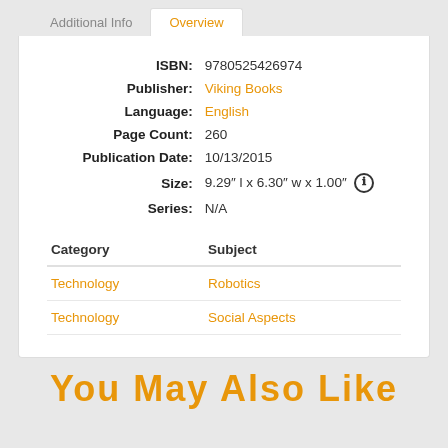Additional Info | Overview
| ISBN: | 9780525426974 |
| Publisher: | Viking Books |
| Language: | English |
| Page Count: | 260 |
| Publication Date: | 10/13/2015 |
| Size: | 9.29" l x 6.30" w x 1.00" |
| Series: | N/A |
| Category | Subject |
| --- | --- |
| Technology | Robotics |
| Technology | Social Aspects |
You May Also Like